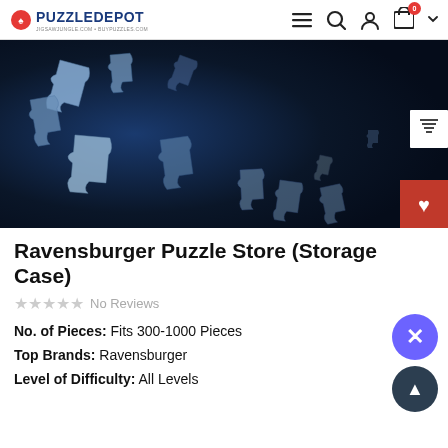PuzzleDepot — navigation bar with logo, menu, search, account, cart icons
[Figure (photo): Dark blue background with scattered white/silver jigsaw puzzle pieces floating in air, Ravensburger branding visible in lower right corner]
Ravensburger Puzzle Store (Storage Case)
No Reviews
No. of Pieces: Fits 300-1000 Pieces
Top Brands: Ravensburger
Level of Difficulty: All Levels